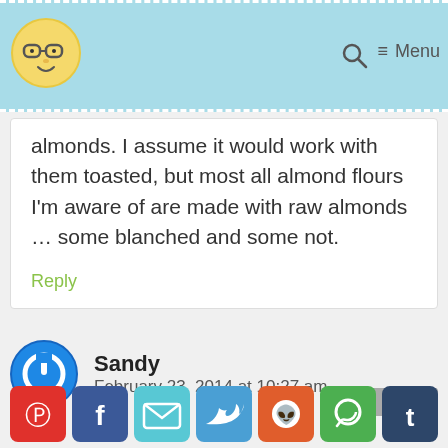Blog website header with logo and Menu navigation
almonds. I assume it would work with them toasted, but most all almond flours I'm aware of are made with raw almonds … some blanched and some not.
Reply
Sandy
February 23, 2014 at 10:27 am
[Figure (illustration): Social sharing buttons row: Pinterest, Facebook, Email, Twitter, Reddit, WhatsApp, Tumblr]